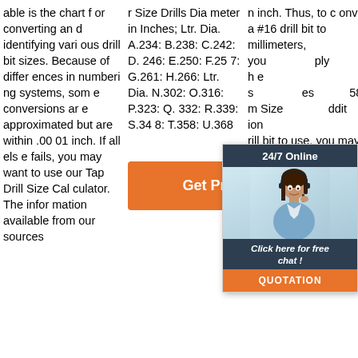able is the chart for converting and identifying various drill bit sizes. Because of differences in numbering systems, some conversions are approximated but are within .0001 inch. If all else fails, you may want to use our Tap Drill Size Calculator. The information available from our sources
r Size Drills Diameter in Inches; Ltr. Dia. A.234: B.238: C.242: D.246: E.250: F.257: G.261: H.266: Ltr. Dia. N.302: O.316: P.323: Q.332: R.339: S.348: T.358: U.368
[Figure (other): Get Price orange button]
n inch. Thus, to convert a #16 drill bit to millimeters, you simply multiply the number of inches by 25.8 millimeters. Size. Additional information on which drill bit to use, you may also want to take a look at the Drill Bit Size Chart which includes
[Figure (other): 24/7 Online chat widget with agent photo, 'Click here for free chat!' text, and QUOTATION button]